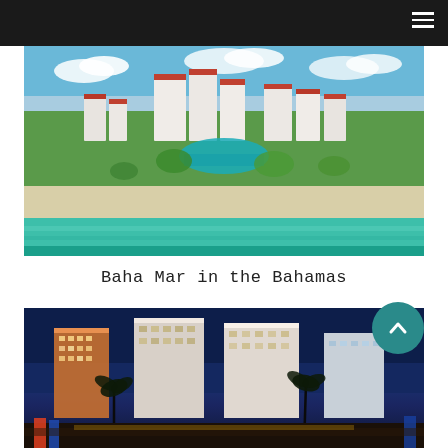[Figure (photo): Aerial daytime photo of Baha Mar resort complex in the Bahamas, showing large white hotel towers with red roofs, tropical landscaping, pools, and a white sandy beach with turquoise water in the foreground.]
Baha Mar in the Bahamas
[Figure (photo): Nighttime photo of Baha Mar resort buildings illuminated against a dark blue evening sky, with palm trees and colorful foreground decorations.]